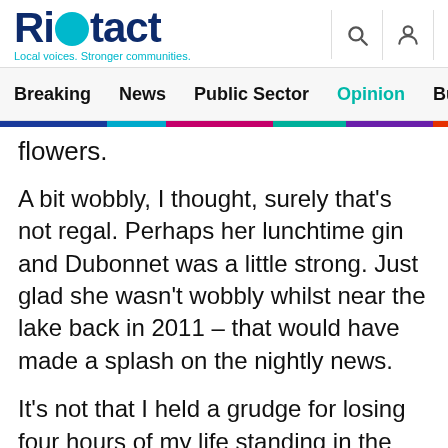[Figure (logo): Riotact logo with teal circular O, tagline: Local voices. Stronger communities.]
Breaking  News  Public Sector  Opinion  Business  R
flowers.
A bit wobbly, I thought, surely that’s not regal. Perhaps her lunchtime gin and Dubonnet was a little strong. Just glad she wasn’t wobbly whilst near the lake back in 2011 – that would have made a splash on the nightly news.
It’s not that I held a grudge for losing four hours of my life standing in the belting sun waiting for someone I’d never met nor was